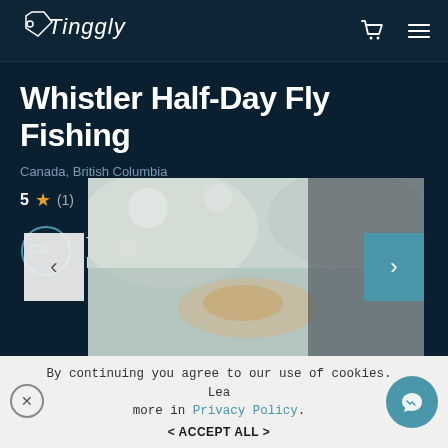Tinggly
Whistler Half-Day Fly Fishing
Canada, British Columbia
5 ★ (1)
Tinggly offsets 200% of the carbon footprint of any booked experience
[Figure (photo): Close-up photo of a person holding a small trout fish outdoors near water]
By continuing you agree to our use of cookies. Learn more in Privacy Policy.
< ACCEPT ALL >